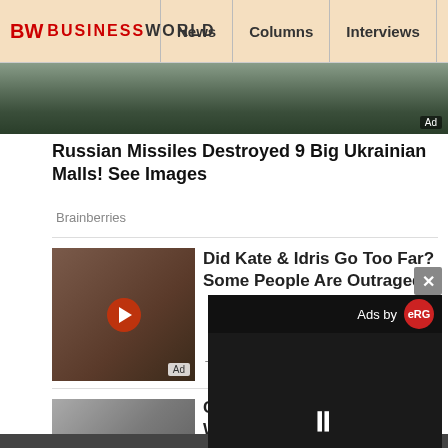BW BUSINESSWORLD | News | Columns | Interviews | BW
[Figure (photo): Top banner image showing destroyed buildings, war scene]
Russian Missiles Destroyed 9 Big Ukrainian Malls! See Images
Brainberries
[Figure (photo): Video thumbnail showing two people in a scene, with play button overlay. Ad label present.]
Did Kate & Idris Go Too Far? Some People Are Outraged
Traitslab
[Figure (photo): Close-up image of face mask / skincare product - grey granules on a spoon. Ad label present.]
Consider These Face Masks, Which Are Faster Than Facials
Herbeauty
Discover The Lev... Traditional Tibeta... Science
Herbeauty
[Figure (screenshot): Video ad overlay in bottom right corner - black background with Ads by eRG logo and pause button]